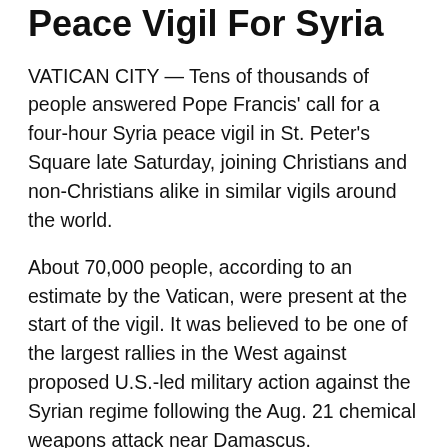Peace Vigil For Syria
VATICAN CITY — Tens of thousands of people answered Pope Francis' call for a four-hour Syria peace vigil in St. Peter's Square late Saturday, joining Christians and non-Christians alike in similar vigils around the world.
About 70,000 people, according to an estimate by the Vatican, were present at the start of the vigil. It was believed to be one of the largest rallies in the West against proposed U.S.-led military action against the Syrian regime following the Aug. 21 chemical weapons attack near Damascus.
Francis spent most of the vigil in silent prayer, but during his speech he issued a heartfelt plea for peace, denouncing those who are “captivated by the idols of dominion and power” and destroy God’s creation through